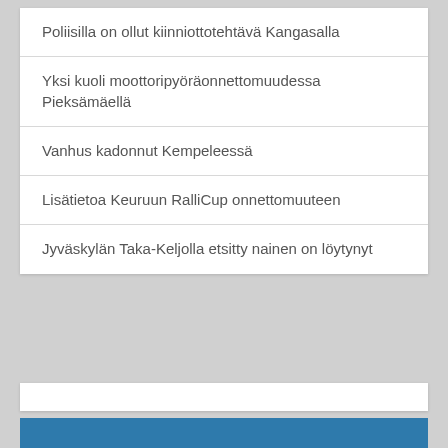Poliisilla on ollut kiinniottotehtävä Kangasalla
Yksi kuoli moottoripyöräonnettomuudessa Pieksämäellä
Vanhus kadonnut Kempeleessä
Lisätietoa Keuruun RalliCup onnettomuuteen
Jyväskylän Taka-Keljolla etsitty nainen on löytynyt